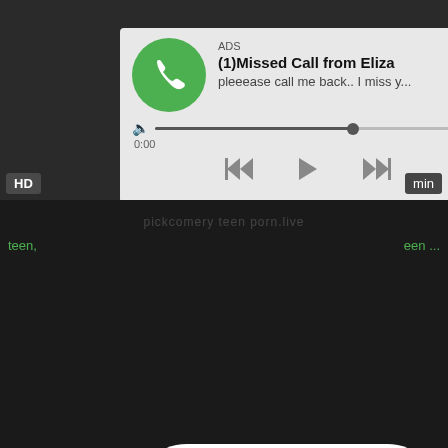[Figure (screenshot): Audio player advertisement card with green phone icon, title '(1)Missed Call from Eliza', subtitle 'pleeease call me back.. I miss y...', progress bar, time display 0:00 and 3:23, and playback controls]
ADS
(1)Missed Call from Eliza
pleeease call me back.. I miss y...
0:00
3:23
HD
min
[Figure (screenshot): Live chat notification popup with avatar image with pink ring border, LIVE badge, red notification badge showing 1, and message bubble with gradient pink background showing ADS label, 'Angel is typing ... 💬' and '(1) unread message']
ADS
Angel is typing ... 💬
(1) unread message
LIVE
teen,
een ...